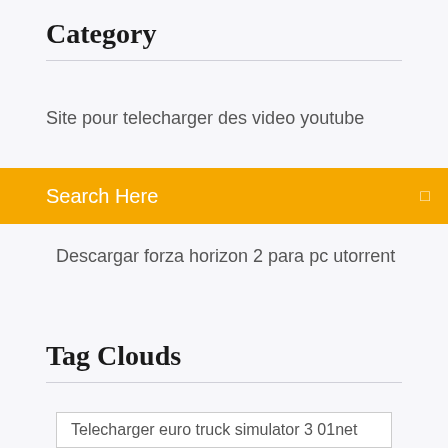Category
Site pour telecharger des video youtube
Search Here
Descargar forza horizon 2 para pc utorrent
Tag Clouds
Telecharger euro truck simulator 3 01net